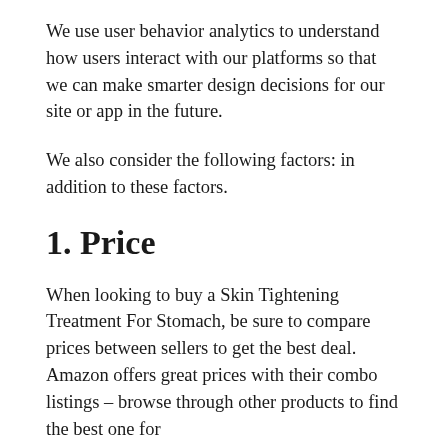We use user behavior analytics to understand how users interact with our platforms so that we can make smarter design decisions for our site or app in the future.
We also consider the following factors: in addition to these factors.
1. Price
When looking to buy a Skin Tightening Treatment For Stomach, be sure to compare prices between sellers to get the best deal. Amazon offers great prices with their combo listings – browse through other products to find the best one for